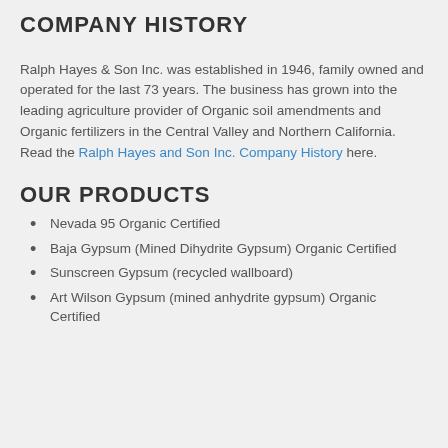COMPANY HISTORY
Ralph Hayes & Son Inc. was established in 1946, family owned and operated for the last 73 years. The business has grown into the leading agriculture provider of Organic soil amendments and Organic fertilizers in the Central Valley and Northern California. Read the Ralph Hayes and Son Inc. Company History here.
OUR PRODUCTS
Nevada 95 Organic Certified
Baja Gypsum (Mined Dihydrite Gypsum) Organic Certified
Sunscreen Gypsum (recycled wallboard)
Art Wilson Gypsum (mined anhydrite gypsum) Organic Certified